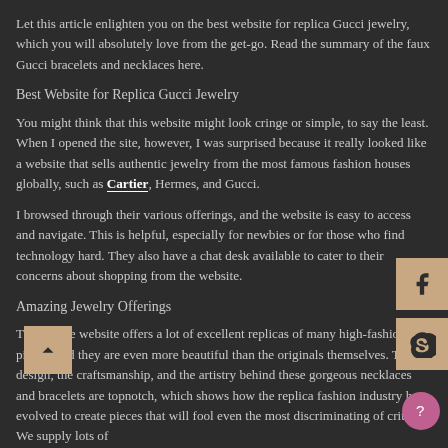Let this article enlighten you on the best website for replica Gucci jewelry, which you will absolutely love from the get-go. Read the summary of the faux Gucci bracelets and necklaces here.
Best Website for Replica Gucci Jewelry
You might think that this website might look cringe or simple, to say the least. When I opened the site, however, I was surprised because it really looked like a website that sells authentic jewelry from the most famous fashion houses globally, such as Cartier, Hermes, and Gucci.
I browsed through their various offerings, and the website is easy to access and navigate. This is helpful, especially for newbies or for those who find technology hard. They also have a chat desk available to cater to their concerns about shopping from the website.
Amazing Jewelry Offerings
This online website offers a lot of excellent replicas of many high-fashion pieces, and they are even more beautiful than the originals themselves. The design, the craftsmanship, and the artistry behind these gorgeous necklaces and bracelets are topnotch, which shows how the replica fashion industry has evolved to create pieces that will fool even the most discriminating of critics. We supply lots of